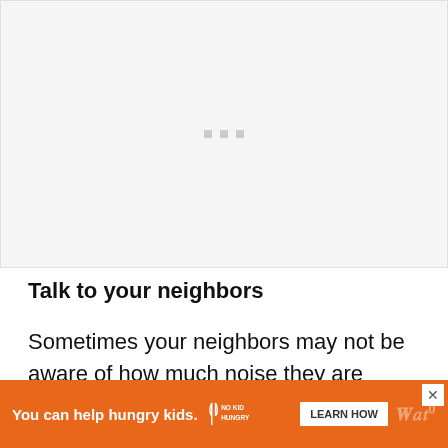[Figure (other): Large image placeholder area with light gray background and three small gray dots centered near the top]
Talk to your neighbors
Sometimes your neighbors may not be aware of how much noise they are generating in their home. This is why it is best to talk to them after lo... their h...
[Figure (other): Advertisement banner: orange background, 'You can help hungry kids.' text, No Kid Hungry logo, LEARN HOW button, close X button]